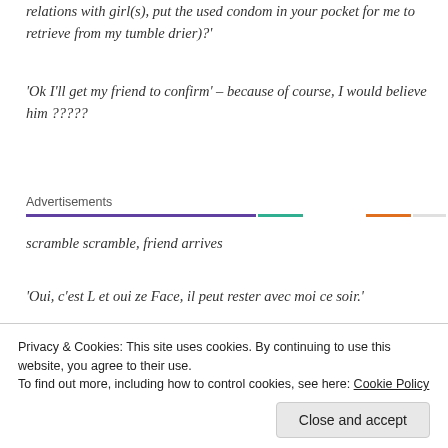relations with girl(s), put the used condom in your pocket for me to retrieve from my tumble drier)?'
'Ok I'll get my friend to confirm' – because of course, I would believe him ?????
Advertisements
scramble scramble, friend arrives
'Oui, c'est L et oui ze Face, il peut rester avec moi ce soir.'
Privacy & Cookies: This site uses cookies. By continuing to use this website, you agree to their use.
To find out more, including how to control cookies, see here: Cookie Policy
Close and accept